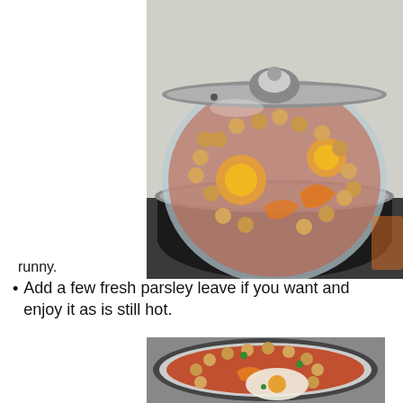[Figure (photo): A glass-lidded black skillet on a stove, visible through the lid are chickpeas, egg yolks, and orange/yellow peppers in a tomato-based sauce.]
runny.
Add a few fresh parsley leave if you want and enjoy it as is still hot.
[Figure (photo): A black bowl viewed from above containing shakshuka: chickpeas, eggs, orange peppers in tomato sauce, garnished with fresh green herbs.]